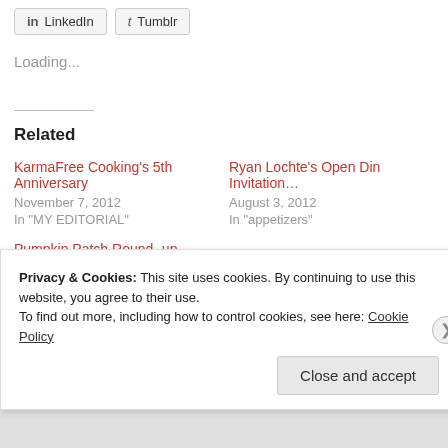[Figure (screenshot): Social share buttons: LinkedIn and Tumblr]
Loading...
Related
KarmaFree Cooking’s 5th Anniversary
November 7, 2012
In "MY EDITORIAL"
Ryan Lochte’s Open Din Invitation…
August 3, 2012
In "appetizers"
Pumpkin Patch Round -up
October 26, 2012
In "MY EDITORIAL"
Privacy & Cookies: This site uses cookies. By continuing to use this website, you agree to their use.
To find out more, including how to control cookies, see here: Cookie Policy
Close and accept